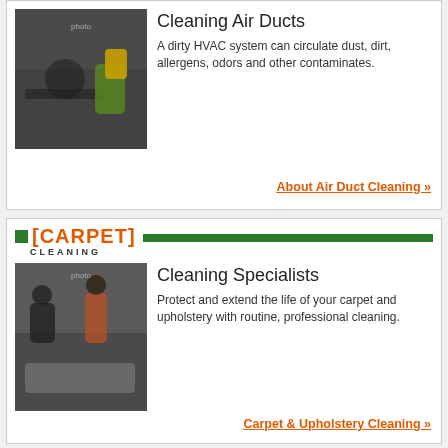[Figure (photo): Technician lying on floor cleaning air duct with equipment]
Cleaning Air Ducts
A dirty HVAC system can circulate dust, dirt, allergens, odors and other contaminates.
About Air Duct Cleaning »
[CARPET] CLEANING
[Figure (photo): Carpet cleaning specialist cleaning upholstery while woman watches]
Cleaning Specialists
Protect and extend the life of your carpet and upholstery with routine, professional cleaning.
Carpet & Upholstery Cleaning »